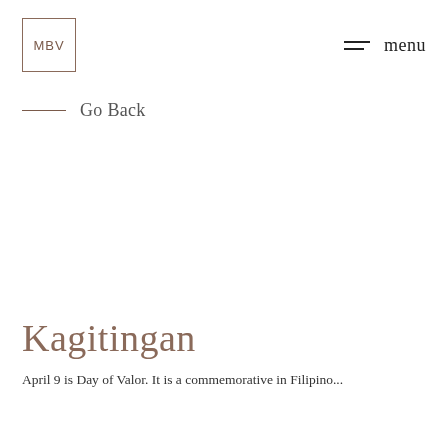MBV | menu
Go Back
Kagitingan
April 9 is Day of Valor. It is a commemorative Filipino...